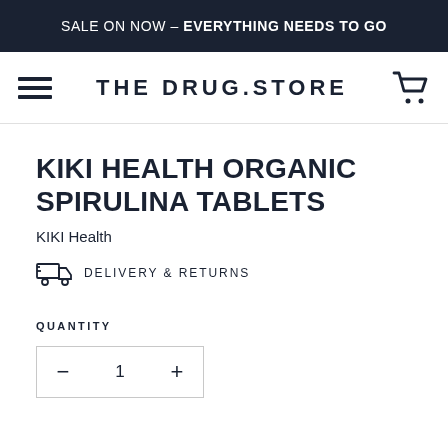SALE ON NOW – EVERYTHING NEEDS TO GO
[Figure (logo): THE DRUG.STORE logo with hamburger menu icon on left and shopping cart icon on right]
KIKI HEALTH ORGANIC SPIRULINA TABLETS
KIKI Health
DELIVERY & RETURNS
QUANTITY
1